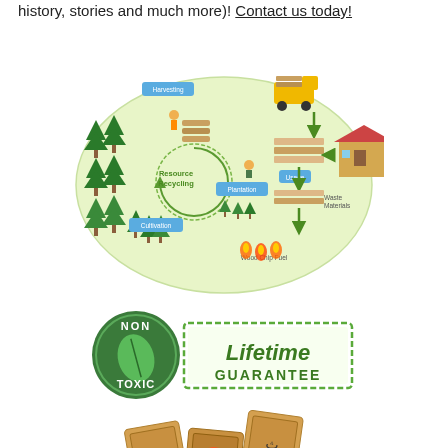history, stories and much more)! Contact us today!
[Figure (infographic): Resource Recycling cycle diagram showing an oval with trees/forest on the left, Harvesting stage with workers and logs, a yellow truck transporting logs, Usage stage with lumber boards and a house, Waste Materials, Wood Chip Fuel with flames, and Plantation/Cultivation stages with small trees. Green arrows show the flow. Center shows 'Resource Recycling' with circular arrows.]
[Figure (infographic): Non Toxic badge (circular green badge with a leaf) next to a green stamp-style badge reading 'Lifetime GUARANTEE']
[Figure (photo): Wooden alphabet/learning blocks stacked with Arabic text and illustrations including a mushroom, a key, and other images on their faces.]